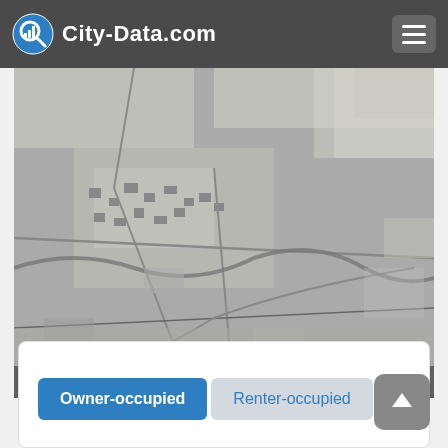City-Data.com
[Figure (map): Black and white aerial/satellite map from EPA EnviroMapper and USGS showing a rural/suburban area with roads, fields, and buildings. North arrow and scale bar visible in lower right. EPA EnviroMapper logo in lower left.]
Owner-occupied
Renter-occupied